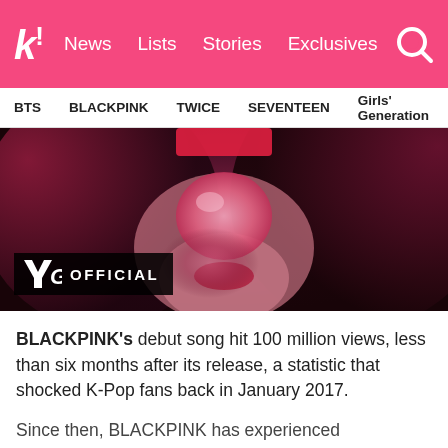k! News Lists Stories Exclusives
BTS BLACKPINK TWICE SEVENTEEN Girls' Generation
[Figure (photo): Thumbnail image of a BLACKPINK member blowing a bubble gum bubble with purple/red hair, with a YG OFFICIAL badge overlay in the lower left corner.]
BLACKPINK's debut song hit 100 million views, less than six months after its release, a statistic that shocked K-Pop fans back in January 2017.
Since then, BLACKPINK has experienced tremendous international outreach through YouTube and social media, and currently have the most viewed YouTube video for a K-Pop